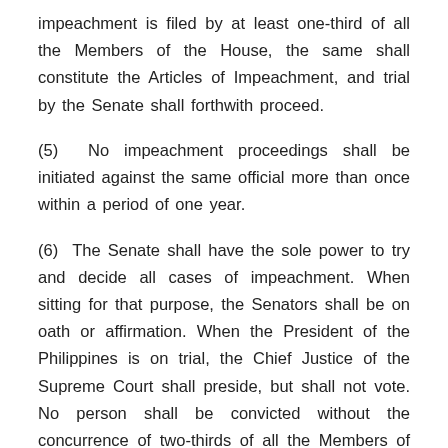impeachment is filed by at least one-third of all the Members of the House, the same shall constitute the Articles of Impeachment, and trial by the Senate shall forthwith proceed.
(5) No impeachment proceedings shall be initiated against the same official more than once within a period of one year.
(6) The Senate shall have the sole power to try and decide all cases of impeachment. When sitting for that purpose, the Senators shall be on oath or affirmation. When the President of the Philippines is on trial, the Chief Justice of the Supreme Court shall preside, but shall not vote. No person shall be convicted without the concurrence of two-thirds of all the Members of the